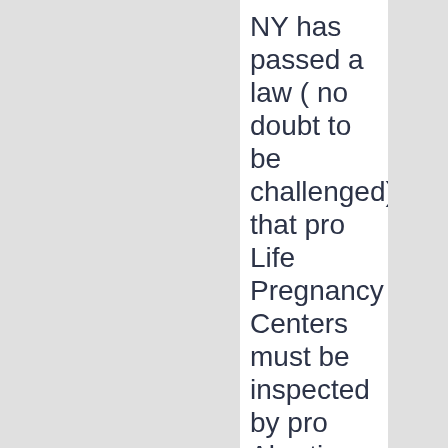NY has passed a law ( no doubt to be challenged) that pro Life Pregnancy Centers must be inspected by pro Abortion groups! We thought